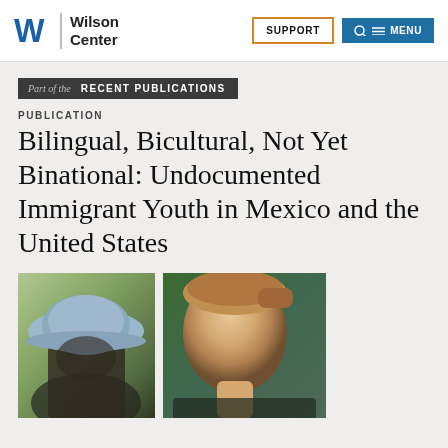Wilson Center | SUPPORT | MENU
Part of the RECENT PUBLICATIONS
PUBLICATION
Bilingual, Bicultural, Not Yet Binational: Undocumented Immigrant Youth in Mexico and the United States
[Figure (photo): Two photos side by side: left photo shows a person wearing a light blue baseball cap outdoors with green foliage in background; right photo shows a young woman with blonde hair pulled back, green foliage in background.]